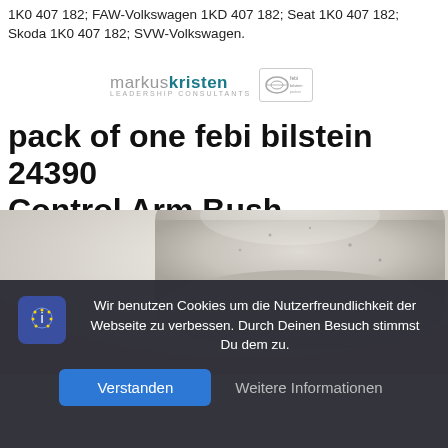1K0 407 182; FAW-Volkswagen 1KD 407 182; Seat 1K0 407 182; Skoda 1K0 407 182; SVW-Volkswagen.
[Figure (logo): markuskristen LEADERSHIP CONSULTANTS logo with a secondary badge/seal]
pack of one febi bilstein 24390 Control Arm Bush
[Figure (photo): Close-up photo of a white/gray rubber control arm bush automotive part]
Wir benutzen Cookies um die Nutzerfreundlichkeit der Webseite zu verbessen. Durch Deinen Besuch stimmst Du dem zu.
Verstanden   Weitere Informationen